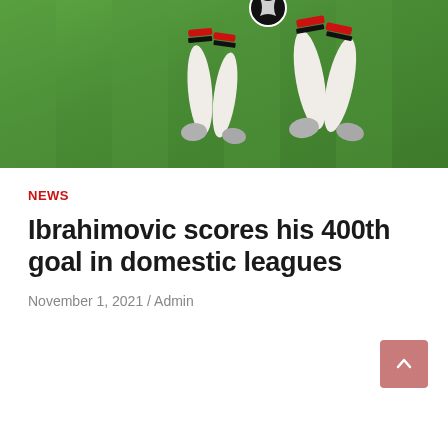[Figure (photo): Soccer/football player in AC Milan kit (white socks with red/black stripes, silver boots) kicking a ball on a green grass pitch, cropped to show legs and lower body only]
NEWS
Ibrahimovic scores his 400th goal in domestic leagues
November 1, 2021 / Admin